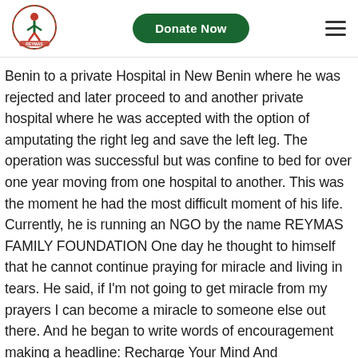Reymas Family Foundation logo | Donate Now | hamburger menu
Benin to a private Hospital in New Benin where he was rejected and later proceed to and another private hospital where he was accepted with the option of amputating the right leg and save the left leg. The operation was successful but was confine to bed for over one year moving from one hospital to another. This was the moment he had the most difficult moment of his life. Currently, he is running an NGO by the name REYMAS FAMILY FOUNDATION One day he thought to himself that he cannot continue praying for miracle and living in tears. He said, if I'm not going to get miracle from my prayers I can become a miracle to someone else out there. And he began to write words of encouragement making a headline: Recharge Your Mind And